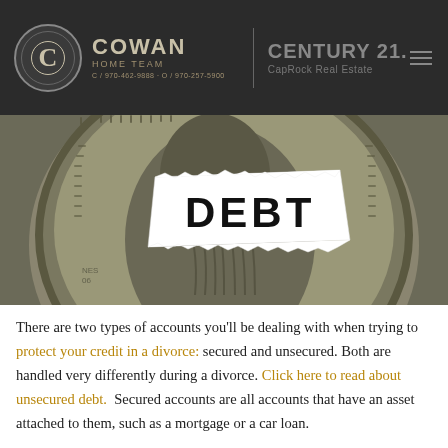COWAN HOME TEAM | C/970-462-9888 · O/970-257-5900 | CENTURY 21 | CapRock Real Estate
[Figure (photo): A coin featuring a portrait covered by a torn piece of paper with the word DEBT printed in large bold letters on it, depicted in black and white.]
There are two types of accounts you'll be dealing with when trying to protect your credit in a divorce: secured and unsecured. Both are handled very differently during a divorce. Click here to read about unsecured debt.  Secured accounts are all accounts that have an asset attached to them, such as a mortgage or a car loan.